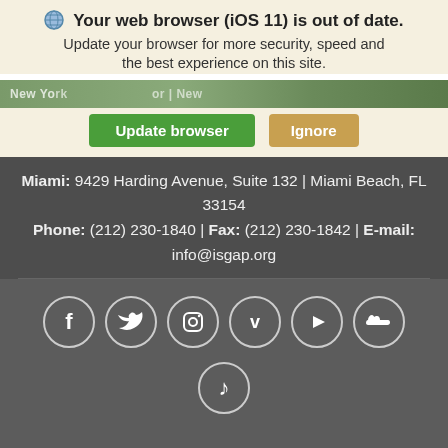Your web browser (iOS 11) is out of date. Update your browser for more security, speed and the best experience on this site.
New Yor... | New
Miami: 9429 Harding Avenue, Suite 132 | Miami Beach, FL 33154
Phone: (212) 230-1840 | Fax: (212) 230-1842 | E-mail: info@isgap.org
[Figure (illustration): Social media icons in circles: Facebook, Twitter, Instagram, Vimeo, YouTube, SoundCloud, and a music/iTunes icon]
© 2022 the Institute for the Study of Global Antisemitism and Policy (ISGAP)